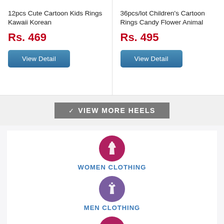12pcs Cute Cartoon Kids Rings Kawaii Korean
Rs. 469
View Detail
36pcs/lot Children's Cartoon Rings Candy Flower Animal
Rs. 495
View Detail
VIEW MORE HEELS
WOMEN CLOTHING
MEN CLOTHING